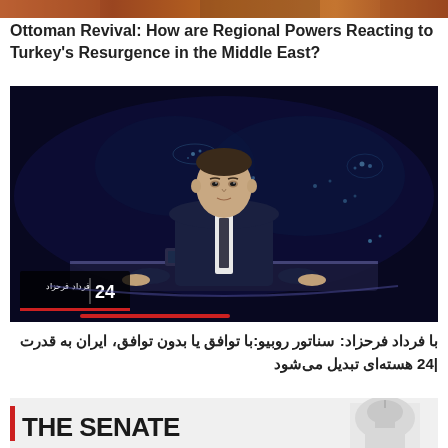[Figure (photo): Top image strip - partial cropped image at top of page]
Ottoman Revival: How are Regional Powers Reacting to Turkey’s Resurgence in the Middle East?
[Figure (screenshot): News broadcast screenshot showing male news anchor in dark suit standing in front of a world map screen showing lights at night, with a broadcast logo showing '24' and Persian text 'فرداد فرحزاد' in lower left corner]
با فرداد فرحزاد: سناتور روبیو:با توافق یا بدون توافق، ایران به قدرت |24 هسته‌ای تبدیل می‌شود
[Figure (screenshot): Bottom image showing partial view of 'THE SENATE' text in bold black letters with red accent bar on left side, and partial view of US Capitol building dome on right side]